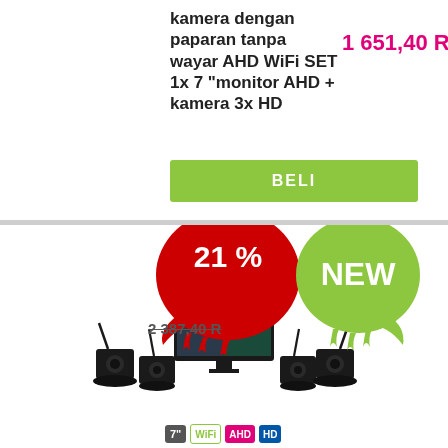kamera dengan paparan tanpa wayar AHD WiFi SET 1x 7 "monitor AHD + kamera 3x HD
1 651,40 RM
BELI
[Figure (infographic): Red dripping paint blob with '21 %' discount badge and green dripping paint blob with 'NEW' badge]
2 387,40 R (strikethrough old price)
[Figure (photo): Product image: wireless AHD camera set with 7-inch monitor and 3 HD cameras with antennas]
7" WiFi AHD HD badges